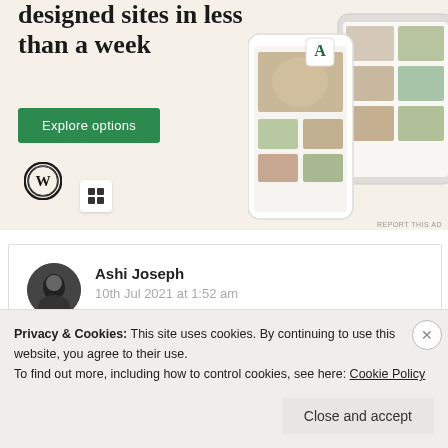[Figure (screenshot): WordPress/website builder advertisement with beige background showing 'designed sites in less than a week', a green 'Explore options' button, WordPress logo, and phone mockups with food website screenshots]
REPORT THIS AD
[Figure (photo): Circular avatar photo of Ashi Joseph, black and white portrait]
Ashi Joseph
10th Jul 2021 at 1:52 am
Privacy & Cookies: This site uses cookies. By continuing to use this website, you agree to their use.
To find out more, including how to control cookies, see here: Cookie Policy
Close and accept